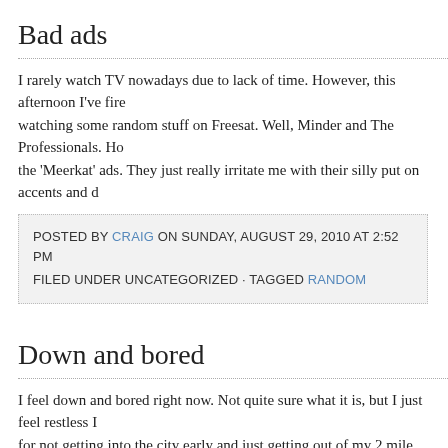Bad ads
I rarely watch TV nowadays due to lack of time. However, this afternoon I've fired up watching some random stuff on Freesat. Well, Minder and The Professionals. Ho the 'Meerkat' ads. They just really irritate me with their silly put on accents and d
POSTED BY CRAIG ON SUNDAY, AUGUST 29, 2010 AT 2:52 PM
FILED UNDER UNCATEGORIZED · TAGGED RANDOM
Down and bored
I feel down and bored right now. Not quite sure what it is, but I just feel restless I for not getting into the city early and just getting out of my 2 mile radius of life (th work). I just wish I could click my fingers, […]
POSTED BY CRAIG ON SATURDAY, AUGUST 28, 2010 AT 8:01 AM
FILED UNDER UNCATEGORIZED · TAGGED RANDOM